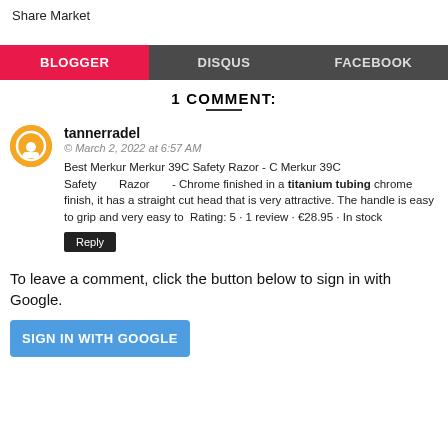Share Market
BLOGGER  DISQUS  FACEBOOK
1 COMMENT:
tannerradel
© March 2, 2022 at 6:57 AM
Best Merkur Merkur 39C Safety Razor - C Merkur 39C Safety Razor - Chrome finished in a titanium tubing chrome finish, it has a straight cut head that is very attractive. The handle is easy to grip and very easy to Rating: 5 · 1 review · €28.95 · In stock
Reply
To leave a comment, click the button below to sign in with Google.
SIGN IN WITH GOOGLE